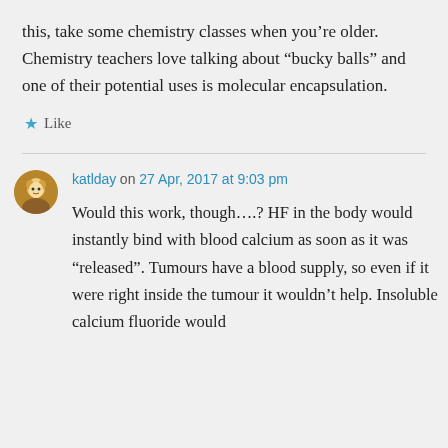this, take some chemistry classes when you’re older. Chemistry teachers love talking about “bucky balls” and one of their potential uses is molecular encapsulation.
★ Like
katlday on 27 Apr, 2017 at 9:03 pm
Would this work, though….? HF in the body would instantly bind with blood calcium as soon as it was “released”. Tumours have a blood supply, so even if it were right inside the tumour it wouldn’t help. Insoluble calcium fluoride would